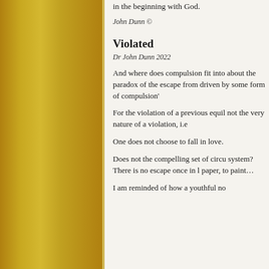in the beginning with God.
John Dunn ©
Violated
Dr John Dunn 2022
And where does compulsion fit into about the paradox of the escape from driven by some form of compulsion'
For the violation of a previous equil not the very nature of a violation, i.e
One does not choose to fall in love.
Does not the compelling set of circu system? There is no escape once in l paper, to paint…
I am reminded of how a youthful no